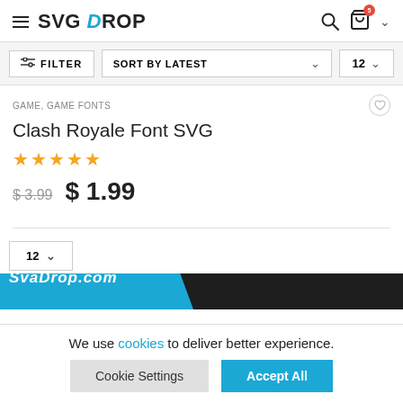SVG DROP — navigation header with filter and sort controls
GAME, GAME FONTS
Clash Royale Font SVG
★★★★★
$3.99  $1.99
12 (per page selector)
[Figure (logo): SvaDrop.com logo on blue and dark banner footer]
We use cookies to deliver better experience.
Cookie Settings    Accept All